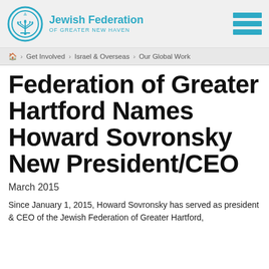Jewish Federation of Greater New Haven
🏠 > Get Involved > Israel & Overseas > Our Global Work
Federation of Greater Hartford Names Howard Sovronsky New President/CEO
March 2015
Since January 1, 2015, Howard Sovronsky has served as president & CEO of the Jewish Federation of Greater Hartford,